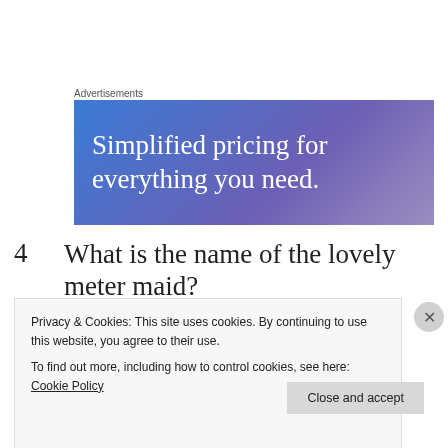Advertisements
[Figure (illustration): Advertisement banner with blue-purple gradient background and white serif text reading 'Simplified pricing for everything you need.']
4   What is the name of the lovely meter maid?
[Figure (photo): Black and white photograph of a city street scene with a BOOKS sign visible on a storefront, with fire escapes and a street lamp.]
Privacy & Cookies: This site uses cookies. By continuing to use this website, you agree to their use.
To find out more, including how to control cookies, see here: Cookie Policy
Close and accept